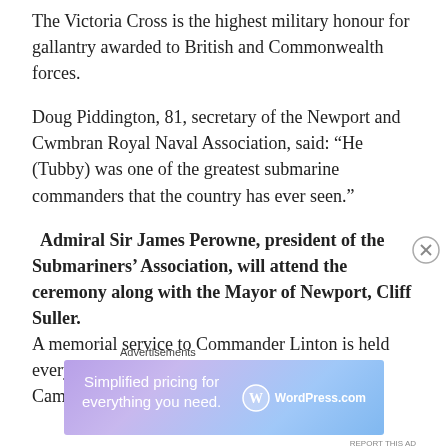The Victoria Cross is the highest military honour for gallantry awarded to British and Commonwealth forces.
Doug Piddington, 81, secretary of the Newport and Cwmbran Royal Naval Association, said: “He (Tubby) was one of the greatest submarine commanders that the country has ever seen.”
Admiral Sir James Perowne, president of the Submariners’ Association, will attend the ceremony along with the Mayor of Newport, Cliff Suller. A memorial service to Commander Linton is held every year and in 2004 a Wetherspoons pub on Cambrian Road was named after him.
[Figure (other): WordPress.com advertisement banner with text 'Simplified pricing for everything you need.' and WordPress.com logo]